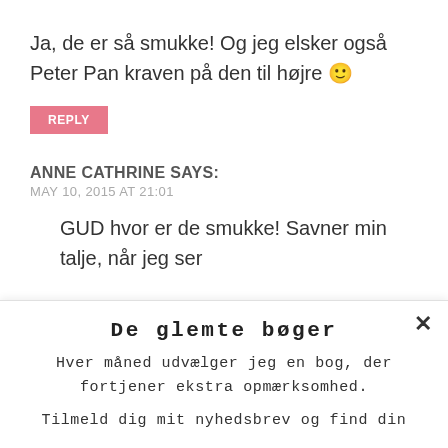Ja, de er så smukke! Og jeg elsker også Peter Pan kraven på den til højre 🙂
REPLY
ANNE CATHRINE SAYS:
MAY 10, 2015 AT 21:01
GUD hvor er de smukke! Savner min talje, når jeg ser
De glemte bøger
Hver måned udvælger jeg en bog, der fortjener ekstra opmærksomhed.
Tilmeld dig mit nyhedsbrev og find din